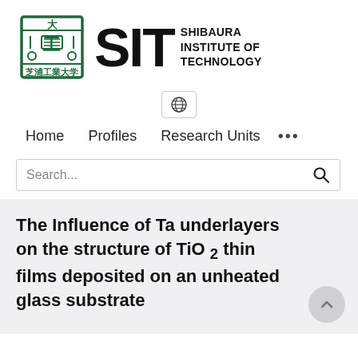[Figure (logo): Shibaura Institute of Technology logo with SIT letters and institutional crest in green and black]
[Figure (other): Globe/language selector icon button with rounded border]
Home   Profiles   Research Units   ...
[Figure (other): Search bar with placeholder text 'Search...' and magnifying glass icon]
The Influence of Ta underlayers on the structure of TiO2 thin films deposited on an unheated glass substrate